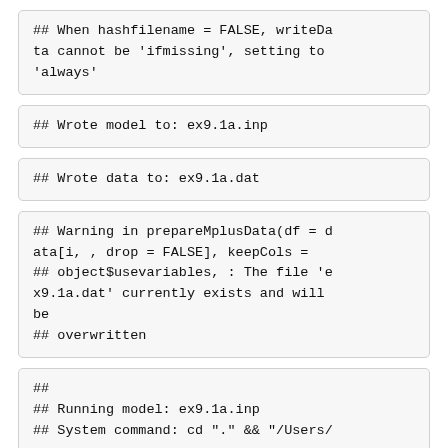## When hashfilename = FALSE, writeData cannot be 'ifmissing', setting to 'always'
## Wrote model to: ex9.1a.inp
## Wrote data to: ex9.1a.dat
## Warning in prepareMplusData(df = data[i, , drop = FALSE], keepCols =
## object$usevariables, : The file 'ex9.1a.dat' currently exists and will be
## overwritten
##
## Running model: ex9.1a.inp
## System command: cd "." && "/Users/